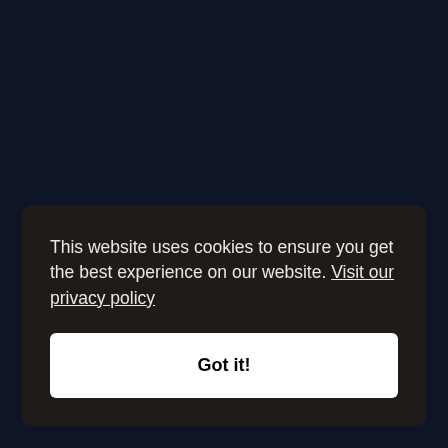This website uses cookies to ensure you get the best experience on our website. Visit our privacy policy
Got it!